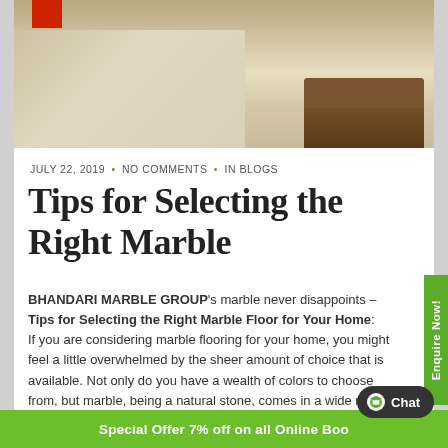[Figure (photo): Interior photo showing marble flooring with stairs on the left and a wooden bench on the right side of the frame. A red decorative element is visible at the top left.]
JULY 22, 2019 • NO COMMENTS • IN BLOGS
Tips for Selecting the Right Marble
BHANDARI MARBLE GROUP's marble never disappoints – Tips for Selecting the Right Marble Floor for Your Home: If you are considering marble flooring for your home, you might feel a little overwhelmed by the sheer amount of choice that is available. Not only do you have a wealth of colors to choose from, but marble, being a natural stone, comes in a wide range of finishes, too. Whether you are looking for a sleek and polished look or a tumbled style that reveals texture and natural features, our guide will help you to choose the right marble to suit your needs.
Special Offer 7% off on all Online Bookings • Quote »